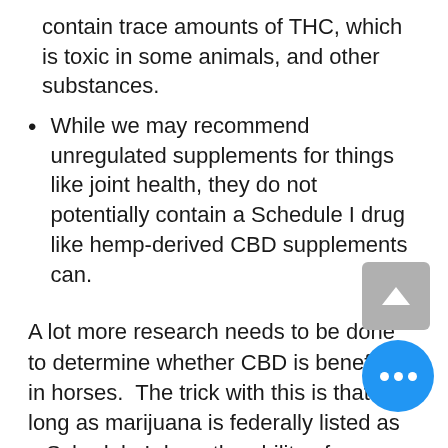contain trace amounts of THC, which is toxic in some animals, and other substances.
While we may recommend unregulated supplements for things like joint health, they do not potentially contain a Schedule I drug like hemp-derived CBD supplements can.
A lot more research needs to be done to determine whether CBD is beneficial in horses.  The trick with this is that as long as marijuana is federally listed as a Schedule I drug, the ability of scientists and researchers to study the use of cannabis for new therapeutics or